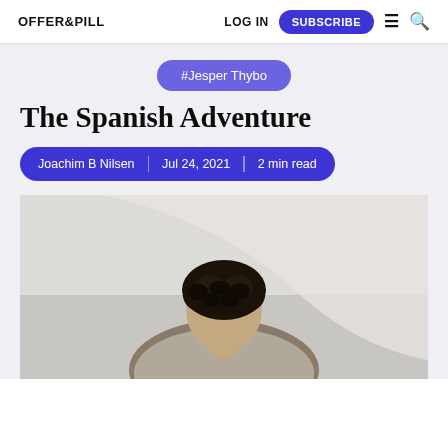OFFER&PILL | LOG IN | SUBSCRIBE
#Jesper Thybo
The Spanish Adventure
Joachim B Nilsen | Jul 24, 2021 | 2 min read
[Figure (photo): Black and white photo of a person with curly dark hair viewed from above/behind against a light grey background]